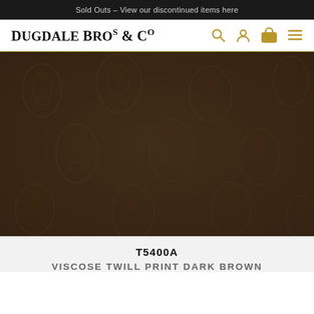Sold Outs – View our discontinued items here
Dugdale Bros & Co
[Figure (photo): Close-up photograph of a dark brown viscose twill fabric with a subtle ornate paisley/damask pattern print. The fabric texture is visible with intricate darker brown decorative motifs on a medium brown background.]
T5400A
VISCOSE TWILL PRINT DARK BROWN